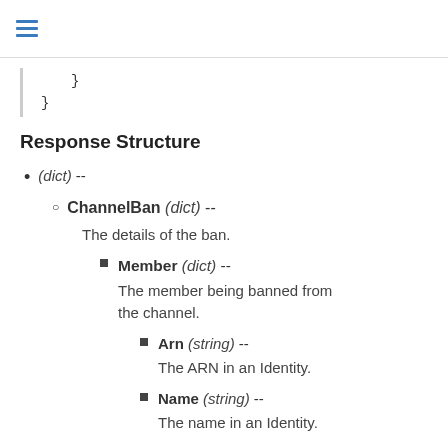}
    }
Response Structure
(dict) --
ChannelBan (dict) --
The details of the ban.
Member (dict) --
The member being banned from the channel.
Arn (string) --
The ARN in an Identity.
Name (string) --
The name in an Identity.